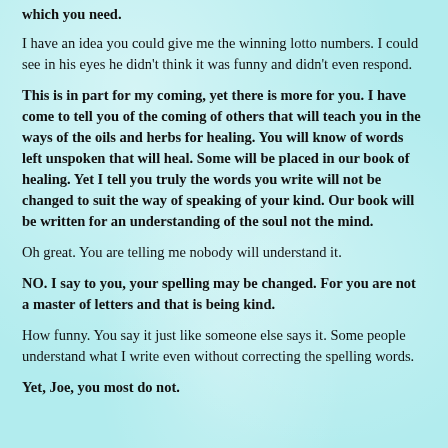which you need.
I have an idea you could give me the winning lotto numbers. I could see in his eyes he didn't think it was funny and didn't even respond.
This is in part for my coming, yet there is more for you. I have come to tell you of the coming of others that will teach you in the ways of the oils and herbs for healing. You will know of words left unspoken that will heal. Some will be placed in our book of healing. Yet I tell you truly the words you write will not be changed to suit the way of speaking of your kind. Our book will be written for an understanding of the soul not the mind.
Oh great. You are telling me nobody will understand it.
NO. I say to you, your spelling may be changed. For you are not a master of letters and that is being kind.
How funny. You say it just like someone else says it. Some people understand what I write even without correcting the spelling words.
Yet, Joe, you most do not.